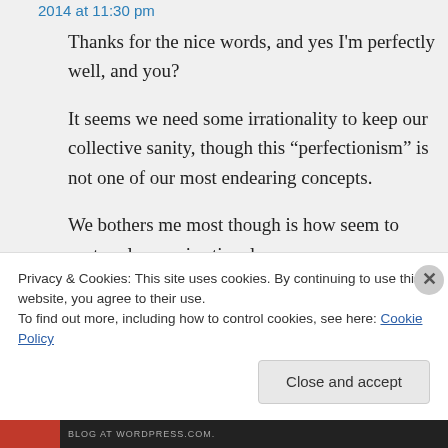2014 at 11:30 pm
Thanks for the nice words, and yes I'm perfectly well, and you?
It seems we need some irrationality to keep our collective sanity, though this “perfectionism” is not one of our most endearing concepts.
We bothers me most though is how seem to portray love as irrational.
Privacy & Cookies: This site uses cookies. By continuing to use this website, you agree to their use.
To find out more, including how to control cookies, see here: Cookie Policy
Close and accept